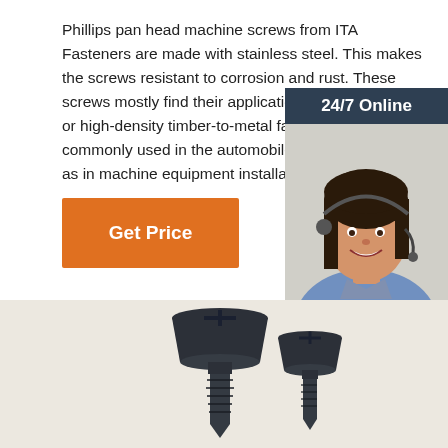Phillips pan head machine screws from ITA Fasteners are made with stainless steel. This makes the screws resistant to corrosion and rust. These screws mostly find their application in metal to metal or high-density timber-to-metal fastening. They are commonly used in the automobile industry as well as in machine equipment installation.
[Figure (other): Orange 'Get Price' button]
[Figure (illustration): 24/7 online chat widget with customer service representative photo, 'Click here for free chat!' text and orange QUOTATION button]
[Figure (photo): Two black Phillips pan head machine screws on a light background]